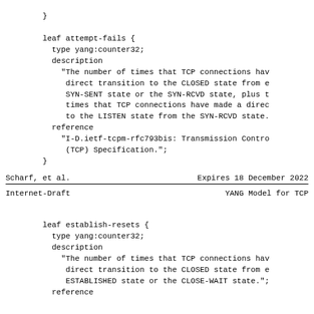}

        leaf attempt-fails {
          type yang:counter32;
          description
            "The number of times that TCP connections have made a
             direct transition to the CLOSED state from either the
             SYN-SENT state or the SYN-RCVD state, plus the number of
             times that TCP connections have made a direct transition
             to the LISTEN state from the SYN-RCVD state.";
          reference
            "I-D.ietf-tcpm-rfc793bis: Transmission Control Protocol
             (TCP) Specification.";
        }
Scharf, et al.          Expires 18 December 2022
Internet-Draft                  YANG Model for TCP
leaf establish-resets {
          type yang:counter32;
          description
            "The number of times that TCP connections have made a
             direct transition to the CLOSED state from either the
             ESTABLISHED state or the CLOSE-WAIT state.";
          reference